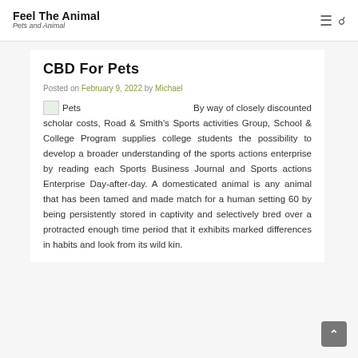Feel The Animal — Pets and Animal
CBD For Pets
Posted on February 9, 2022 by Michael
By way of closely discounted scholar costs, Road & Smith's Sports activities Group, School & College Program supplies college students the possibility to develop a broader understanding of the sports actions enterprise by reading each Sports Business Journal and Sports actions Enterprise Day-after-day. A domesticated animal is any animal that has been tamed and made match for a human setting 60 by being persistently stored in captivity and selectively bred over a protracted enough time period that it exhibits marked differences in habits and look from its wild kin.